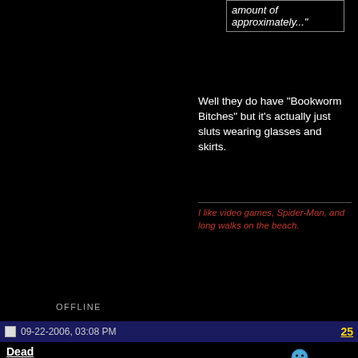amount of approximately..."
Well they do have "Bookworm Bitches" but it's actually just sluts wearing glasses and skirts.
I like video games, Spider-Man, and long walks on the beach.
OFFLINE
09-22-2006, 03:08 PM   25
Dead
Deaddy is your daddy!
Quote:
Originally Posted by Grumble
'Make love to my sphincter' is a great quote, though.
Yeah, I really laughed at that one. I think it was the best porn I have seen in my life.
I like video games, Spider-Man, and long walks on the beach.